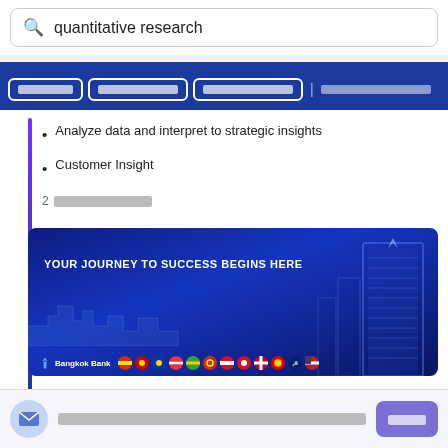quantitative research
[Navigation tabs in Thai]
Analyze data and interpret to strategic insights
Customer Insight
2 [Thai text]
[Figure (infographic): Bangkok Bank advertisement banner with text 'YOUR JOURNEY TO SUCCESS BEGINS HERE', building illustration, bank logo and country flag icons]
[Thai newsletter subscription text]
[Thai subscribe button]